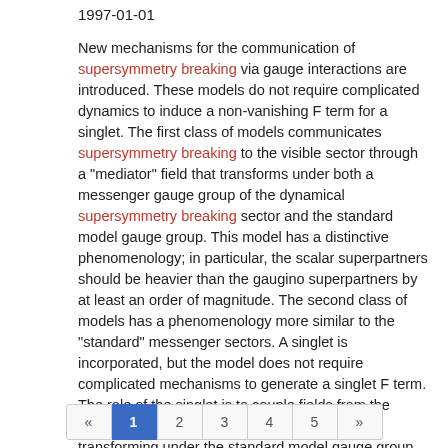1997-01-01
New mechanisms for the communication of supersymmetry breaking via gauge interactions are introduced. These models do not require complicated dynamics to induce a non-vanishing F term for a singlet. The first class of models communicates supersymmetry breaking to the visible sector through a "mediator" field that transforms under both a messenger gauge group of the dynamical supersymmetry breaking sector and the standard model gauge group. This model has a distinctive phenomenology; in particular, the scalar superpartners should be heavier than the gaugino superpartners by at least an order of magnitude. The second class of models has a phenomenology more similar to the "standard" messenger sectors. A singlet is incorporated, but the model does not require complicated mechanisms to generate a singlet F term. The role of the singlet is to couple fields from the dynamical symmetry breaking sector to fields transforming under the standard model gauge group. We also mention a potential solution to the Î¼ problem. (orig.)